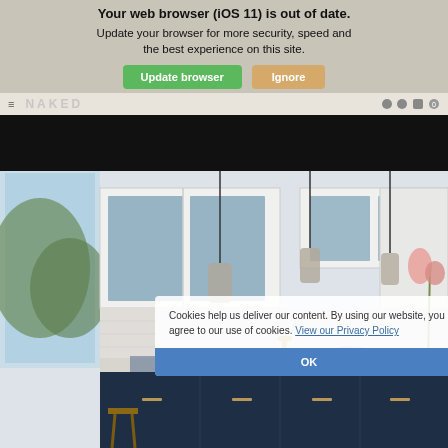Your web browser (iOS 11) is out of date. Update your browser for more security, speed and the best experience on this site.
Update browser | Ignore
NAKED (navigation bar with hamburger menu and icons)
[Figure (photo): Kitchen interior photo showing white upper cabinets with blue glass doors, pendant lights, dark navy lower cabinets, stainless appliances, and a kitchen island with gold/brass faucet]
Cookies help us deliver our content. By using our website, you agree to our use of cookies. View our Privacy Policy
OK